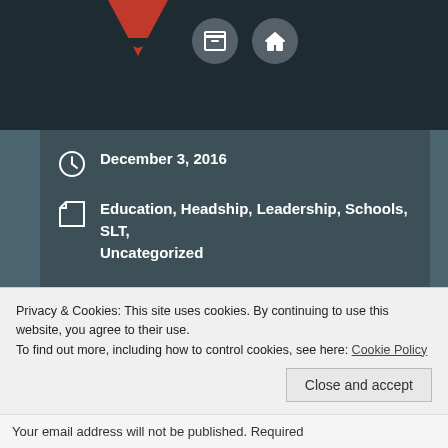[Figure (screenshot): Website header bar with dark background, red bookmark icon and two circular grey navigation buttons (archive and home icons)]
December 3, 2016
Education, Headship, Leadership, Schools, SLT, Uncategorized
Education, Leadership, Reflection, Schools, Vision
Previous post
Next post
Privacy & Cookies: This site uses cookies. By continuing to use this website, you agree to their use.
To find out more, including how to control cookies, see here: Cookie Policy
Close and accept
Your email address will not be published. Required